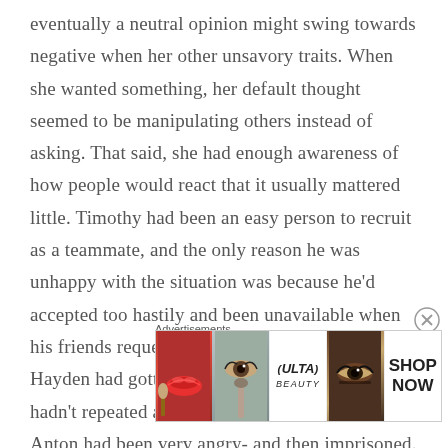eventually a neutral opinion might swing towards negative when her other unsavory traits. When she wanted something, her default thought seemed to be manipulating others instead of asking. That said, she had enough awareness of how people would react that it usually mattered little. Timothy had been an easy person to recruit as a teammate, and the only reason he was unhappy with the situation was because he'd accepted too hastily and been unavailable when his friends requested help. The situation with Hayden had gotten out of her control, but she hadn't repeated anything like that. At the time Anton had been very angry- and then imprisoned. It had basically dropped out of his mind, but recently he'd actually gotten past it, letting go of the
Advertisements
[Figure (photo): Advertisement banner for ULTA Beauty showing close-up beauty images: red lips with makeup brush, eye with eyeshadow, ULTA Beauty logo, smoky eye makeup, with SHOP NOW call to action]